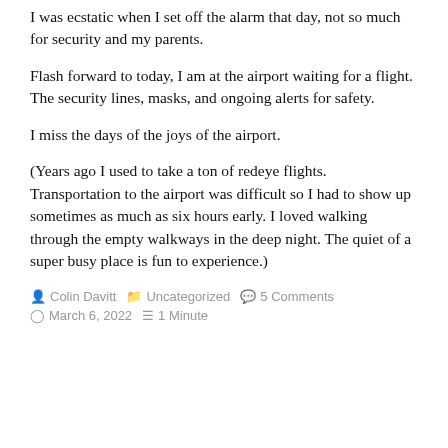I was ecstatic when I set off the alarm that day, not so much for security and my parents.
Flash forward to today, I am at the airport waiting for a flight. The security lines, masks, and ongoing alerts for safety.
I miss the days of the joys of the airport.
(Years ago I used to take a ton of redeye flights. Transportation to the airport was difficult so I had to show up sometimes as much as six hours early. I loved walking through the empty walkways in the deep night. The quiet of a super busy place is fun to experience.)
Colin Davitt   Uncategorized   5 Comments   March 6, 2022   1 Minute